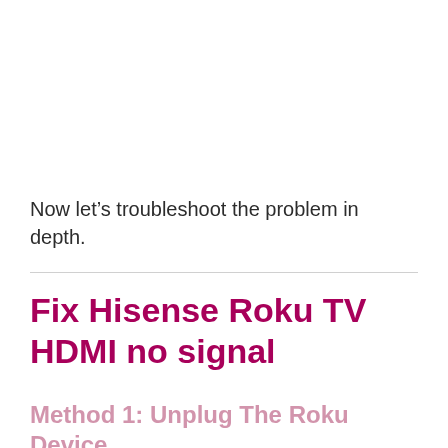Now let’s troubleshoot the problem in depth.
Fix Hisense Roku TV HDMI no signal
Method 1: Unplug The Roku Device